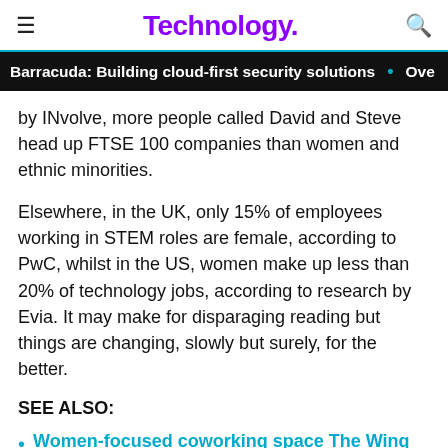Technology.
Barracuda: Building cloud-first security solutions • Ove
by INvolve, more people called David and Steve head up FTSE 100 companies than women and ethnic minorities.
Elsewhere, in the UK, only 15% of employees working in STEM roles are female, according to PwC, whilst in the US, women make up less than 20% of technology jobs, according to research by Evia. It may make for disparaging reading but things are changing, slowly but surely, for the better.
SEE ALSO:
Women-focused coworking space The Wing gets backing from Airbnb and WeWork in $75mn funding round